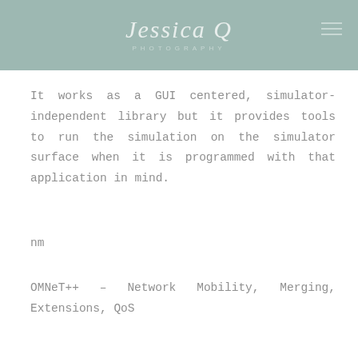Jessica Q PHOTOGRAPHY
It works as a GUI centered, simulator-independent library but it provides tools to run the simulation on the simulator surface when it is programmed with that application in mind.
nm
OMNeT++ – Network Mobility, Merging, Extensions, QoS